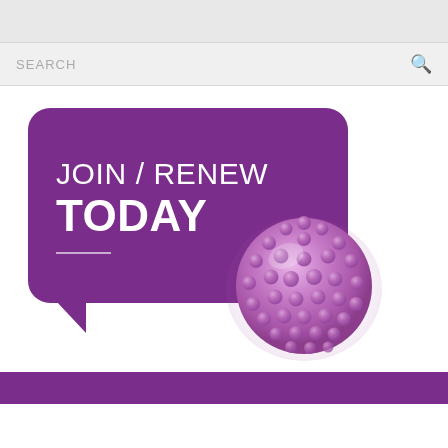SEARCH
[Figure (illustration): Purple speech bubble banner with text 'JOIN / RENEW TODAY' and a 3D light purple molecular sphere/virus ball extending beyond the bubble to the right, on white background. Purple bar at bottom of page.]